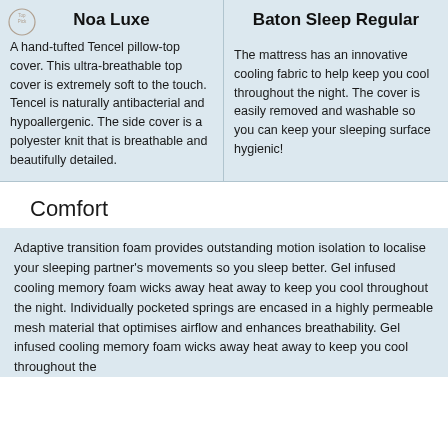Noa Luxe
Baton Sleep Regular
A hand-tufted Tencel pillow-top cover. This ultra-breathable top cover is extremely soft to the touch. Tencel is naturally antibacterial and hypoallergenic. The side cover is a polyester knit that is breathable and beautifully detailed.
The mattress has an innovative cooling fabric to help keep you cool throughout the night. The cover is easily removed and washable so you can keep your sleeping surface hygienic!
Comfort
Adaptive transition foam provides outstanding motion isolation to localise your sleeping partner's movements so you sleep better. Gel infused cooling memory foam wicks away heat away to keep you cool throughout the night. Individually pocketed springs are encased in a highly permeable mesh material that optimises airflow and enhances breathability. Gel infused cooling memory foam wicks away heat away to keep you cool throughout the night. Separately pocketed springs are encased in a highly permeable mesh material that optimises airflow and enhances breathability.